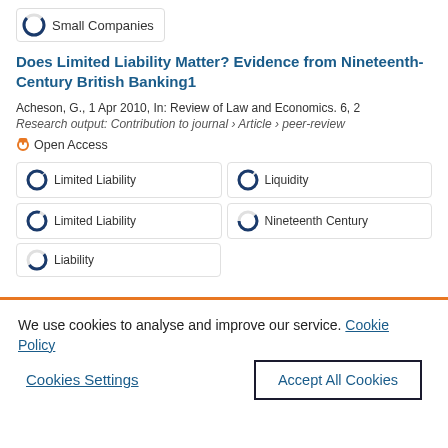[Figure (other): Small Companies keyword pill with partial donut chart icon]
Does Limited Liability Matter? Evidence from Nineteenth-Century British Banking1
Acheson, G., 1 Apr 2010, In: Review of Law and Economics. 6, 2
Research output: Contribution to journal › Article › peer-review
Open Access
Limited Liability
Liquidity
Limited Liability
Nineteenth Century
Liability (partially visible)
We use cookies to analyse and improve our service. Cookie Policy
Cookies Settings
Accept All Cookies